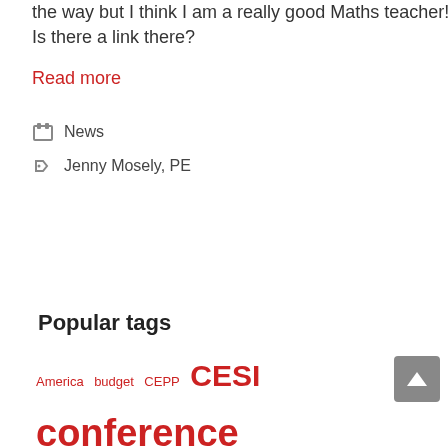the way but I think I am a really good Maths teacher! Is there a link there?
Read more
News
Jenny Mosely, PE
Popular tags
America  budget  CEPP  CESI  conference  drama  Droichead  edchatie  Facebook  Gaeilge